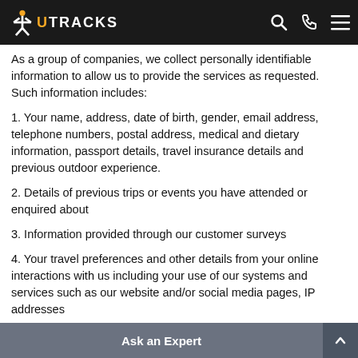UTRACKS
As a group of companies, we collect personally identifiable information to allow us to provide the services as requested. Such information includes:
1. Your name, address, date of birth, gender, email address, telephone numbers, postal address, medical and dietary information, passport details, travel insurance details and previous outdoor experience.
2. Details of previous trips or events you have attended or enquired about
3. Information provided through our customer surveys
4. Your travel preferences and other details from your online interactions with us including your use of our systems and services such as our website and/or social media pages, IP addresses